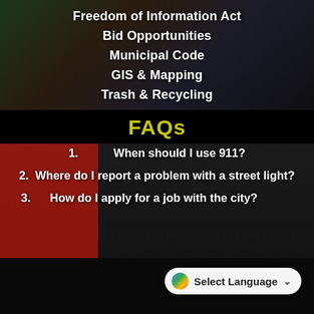Freedom of Information Act
Bid Opportunities
Municipal Code
GIS & Mapping
Trash & Recycling
FAQs
1.  When should I use 911?
2.  Where do I report a problem with a street light?
3.      How do I apply for a job with the city?